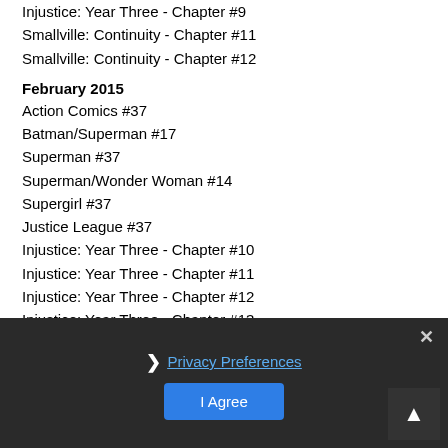Injustice: Year Three - Chapter #9
Smallville: Continuity - Chapter #11
Smallville: Continuity - Chapter #12
February 2015
Action Comics #37
Batman/Superman #17
Superman #37
Superman/Wonder Woman #14
Supergirl #37
Justice League #37
Injustice: Year Three - Chapter #10
Injustice: Year Three - Chapter #11
Injustice: Year Three - Chapter #12
Injustice: Year Three - Chapter #13
Injustice: Year Three - Chapter #14
March 2015
Action Comics #38
Superman #38
Superman/Wonder Woman #15